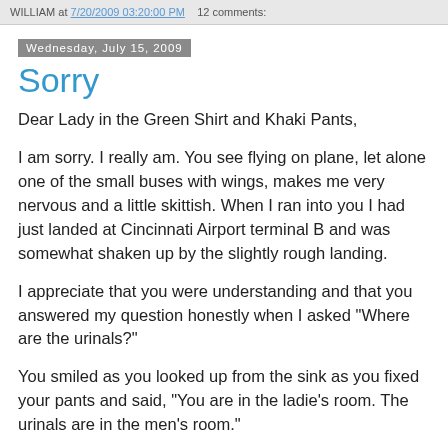WILLIAM at 7/20/2009 03:20:00 PM   12 comments:
Wednesday, July 15, 2009
Sorry
Dear Lady in the Green Shirt and Khaki Pants,
I am sorry. I really am. You see flying on plane, let alone one of the small buses with wings, makes me very nervous and a little skittish. When I ran into you I had just landed at Cincinnati Airport terminal B and was somewhat shaken up by the slightly rough landing.
I appreciate that you were understanding and that you answered my question honestly when I asked "Where are the urinals?"
You smiled as you looked up from the sink as you fixed your pants and said, "You are in the ladie's room. The urinals are in the men's room."
Again, I am sorry.